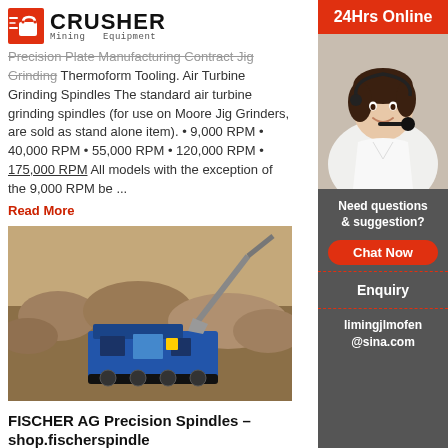[Figure (logo): Crusher Mining Equipment logo with shopping bag icon and bold CRUSHER text]
Precision Plate Manufacturing Contract Jig Grinding Thermoform Tooling. Air Turbine Grinding Spindles The standard air turbine grinding spindles (for use on Moore Jig Grinders, are sold as stand alone item). • 9,000 RPM • 40,000 RPM • 55,000 RPM • 120,000 RPM • 175,000 RPM All models with the exception of the 9,000 RPM be ...
Read More
[Figure (photo): Blue mobile crusher machine working at a mining/quarry site with excavator and rocks]
FISCHER AG Precision Spindles – shop.fischerspindle
Electric or belt-driven, SFJ FISCHER grinding sp your solution for inner- and outer-diameter grind
[Figure (infographic): Sidebar: 24Hrs Online banner, customer service representative photo, Need questions & suggestion text, Chat Now button, Enquiry link, limingjlmofen@sina.com email]